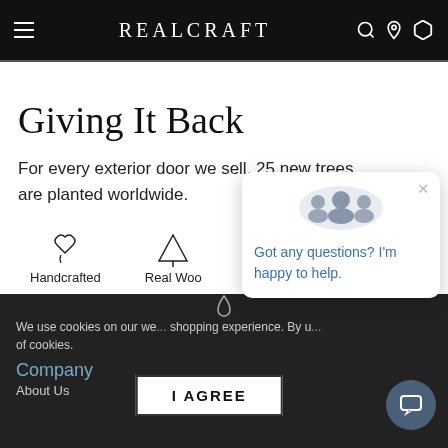REALCRAFT
Giving It Back
For every exterior door we sell, 25 new trees are planted worldwide.
[Figure (illustration): Three feature icons: Handcrafted (hand with heart), Real Wood (pine tree), and a delivery truck icon]
We use cookies on our website to enhance your shopping experience. By u... of cookies.
[Figure (illustration): Chat popup with avatar icons asking: Got any questions? I'm happy to help.]
Company
About Us